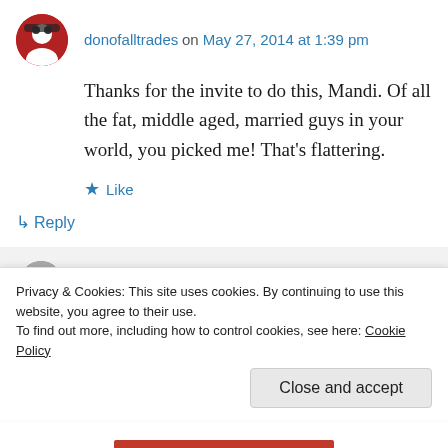donofalltrades on May 27, 2014 at 1:39 pm
Thanks for the invite to do this, Mandi. Of all the fat, middle aged, married guys in your world, you picked me! That's flattering.
Like
Reply
cellulitelooksbettertan on May 27, 2014 at 9:57
Privacy & Cookies: This site uses cookies. By continuing to use this website, you agree to their use.
To find out more, including how to control cookies, see here: Cookie Policy
Close and accept